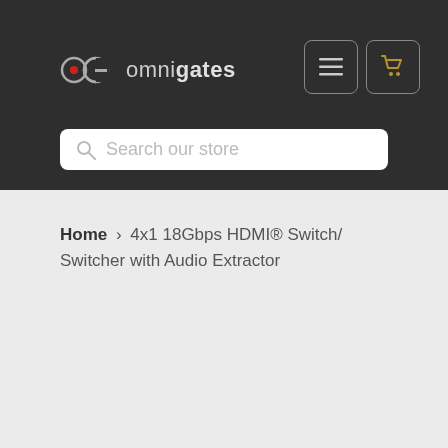[Figure (logo): OmniGates logo with stylized OG letters and text 'omnigates']
Search our store
Home › 4x1 18Gbps HDMI® Switch/Switcher with Audio Extractor